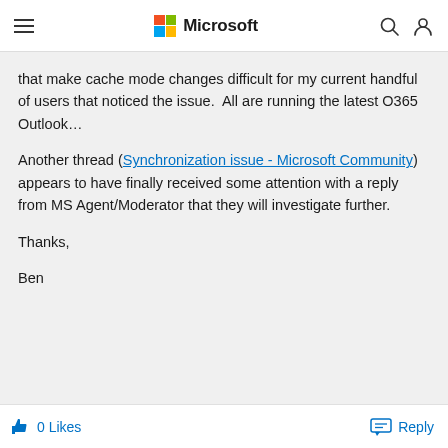Microsoft
that make cache mode changes difficult for my current handful of users that noticed the issue.  All are running the latest O365 Outlook...

Another thread (Synchronization issue - Microsoft Community) appears to have finally received some attention with a reply from MS Agent/Moderator that they will investigate further.

Thanks,

Ben
0 Likes   Reply